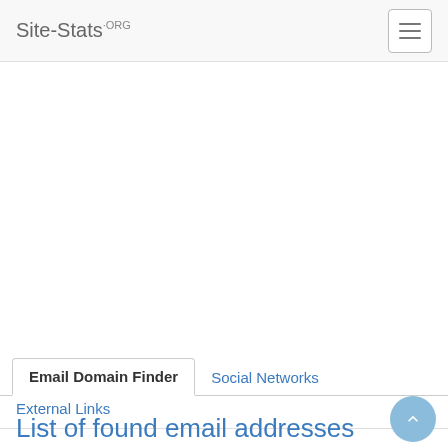Site-Stats.ORG
Email Domain Finder
Social Networks
External Links
List of found email addresses